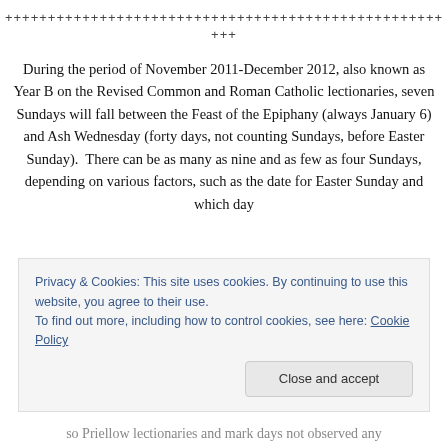+++++++++++++++++++++++++++++++++++++++++++++++
+++
During the period of November 2011-December 2012, also known as Year B on the Revised Common and Roman Catholic lectionaries, seven Sundays will fall between the Feast of the Epiphany (always January 6) and Ash Wednesday (forty days, not counting Sundays, before Easter Sunday).  There can be as many as nine and as few as four Sundays, depending on various factors, such as the date for Easter Sunday and which day
Privacy & Cookies: This site uses cookies. By continuing to use this website, you agree to their use.
To find out more, including how to control cookies, see here: Cookie Policy
Close and accept
so Priellow lectionaries and mark days not observed any